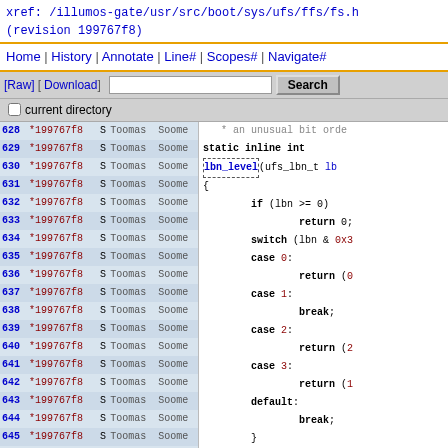xref: /illumos-gate/usr/src/boot/sys/ufs/ffs/fs.h
(revision 199767f8)
Home | History | Annotate | Line# | Scopes# | Navigate#
[Figure (screenshot): Source code browser showing file annotation view with line numbers 628-653, revision *199767f8, author Toomas Soome, and C code for static inline int lbn_level and lbn_offset functions]